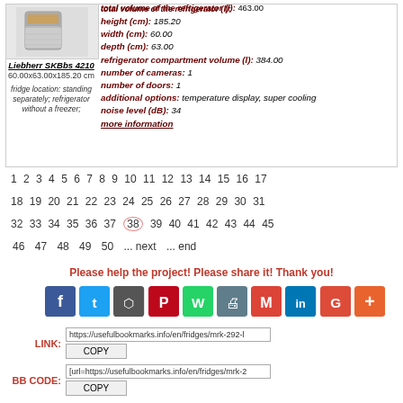[Figure (photo): Liebherr SKBbs 4210 refrigerator thumbnail image]
Liebherr SKBbs 4210
60.00x63.00x185.20 cm
fridge location: standing separately; refrigerator without a freezer;
total volume of the refrigerator (l): 463.00
height (cm): 185.20
width (cm): 60.00
depth (cm): 63.00
refrigerator compartment volume (l): 384.00
number of cameras: 1
number of doors: 1
additional options: temperature display, super cooling
noise level (dB): 34
more information
1 2 3 4 5 6 7 8 9 10 11 12 13 14 15 16 17
18 19 20 21 22 23 24 25 26 27 28 29 30 31
32 33 34 35 36 37 38 39 40 41 42 43 44 45
46 47 48 49 50 ... next ... end
Please help the project! Please share it! Thank you!
[Figure (infographic): Social share buttons: Facebook, Twitter, Bookmark, Pinterest, WhatsApp, Print, Gmail, LinkedIn, Google+, Plus]
LINK: https://usefulbookmarks.info/en/fridges/mrk-292-l  COPY
BB CODE: [url=https://usefulbookmarks.info/en/fridges/mrk-2  COPY